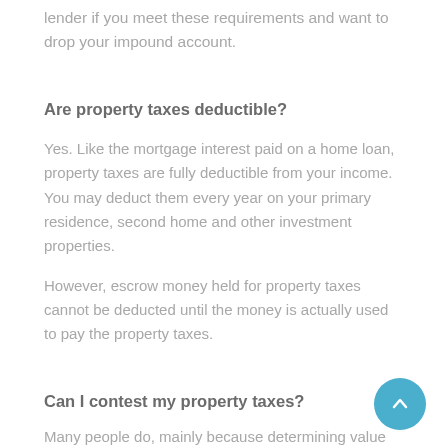lender if you meet these requirements and want to drop your impound account.
Are property taxes deductible?
Yes. Like the mortgage interest paid on a home loan, property taxes are fully deductible from your income. You may deduct them every year on your primary residence, second home and other investment properties.
However, escrow money held for property taxes cannot be deducted until the money is actually used to pay the property taxes.
Can I contest my property taxes?
Many people do, mainly because determining value...